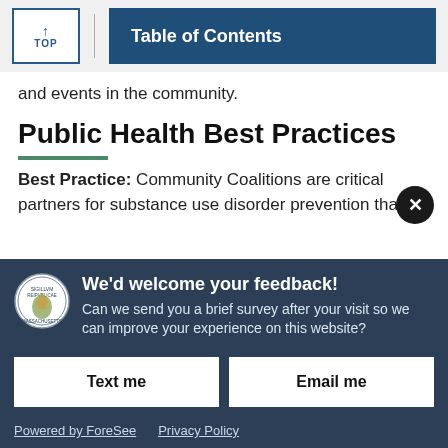TOP | Table of Contents
and events in the community.
Public Health Best Practices
Best Practice: Community Coalitions are critical partners for substance use disorder prevention tha
[Figure (screenshot): Feedback survey modal overlay with Massachusetts state seal logo, title 'We'd welcome your feedback!', body text 'Can we send you a brief survey after your visit so we can improve your experience on this website?', and two buttons: 'Text me' and 'Email me'. Footer links: 'Powered by ForeSee' and 'Privacy Policy'. Close button (X) in top right corner.]